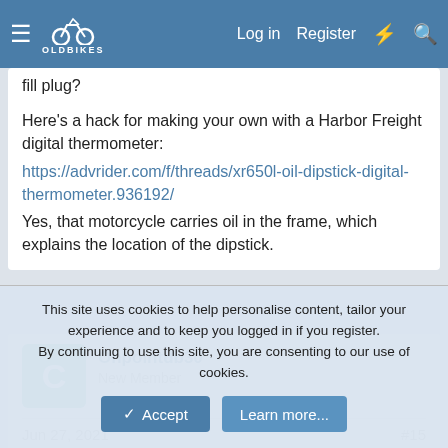OldBikes forum navigation bar with Log in, Register, and search icons
fill plug?
Here's a hack for making your own with a Harbor Freight digital thermometer:
https://advrider.com/f/threads/xr650l-oil-dipstick-digital-thermometer.936192/
Yes, that motorcycle carries oil in the frame, which explains the location of the dipstick.
Onpointdb30
New Member
Jun 27, 2021
#15
Ol thank s for the info...
This site uses cookies to help personalise content, tailor your experience and to keep you logged in if you register.
By continuing to use this site, you are consenting to our use of cookies.